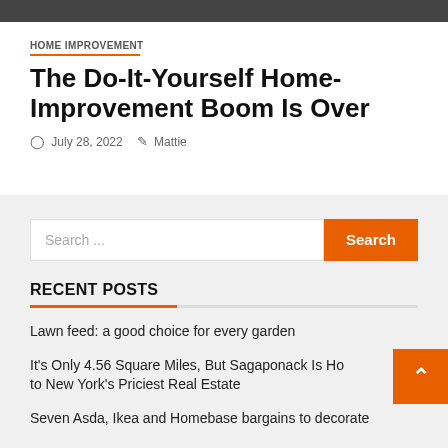HOME IMPROVEMENT
The Do-It-Yourself Home-Improvement Boom Is Over
July 28, 2022   Mattie
Search ...
RECENT POSTS
Lawn feed: a good choice for every garden
It's Only 4.56 Square Miles, But Sagaponack Is Ho to New York's Priciest Real Estate
Seven Asda, Ikea and Homebase bargains to decorate